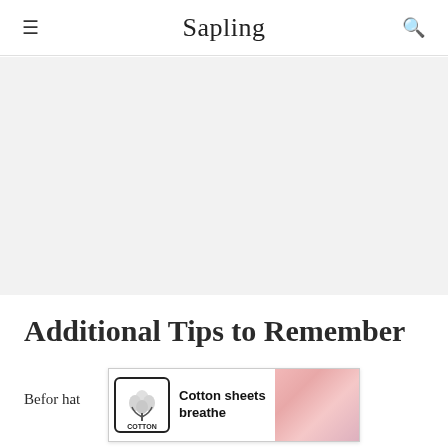Sapling
[Figure (other): Gray advertisement banner placeholder area]
Additional Tips to Remember
[Figure (other): Cotton advertisement overlay: Cotton logo with text 'Cotton sheets breathe' and a pink fabric image on the right]
Before … that will …